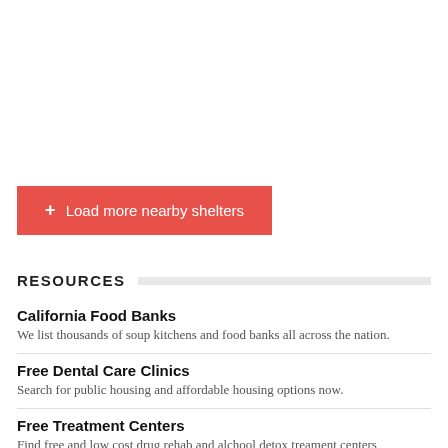+ Load more nearby shelters
RESOURCES
California Food Banks
We list thousands of soup kitchens and food banks all across the nation.
Free Dental Care Clinics
Search for public housing and affordable housing options now.
Free Treatment Centers
Find free and low cost drug rehab and alchool detox treament centers